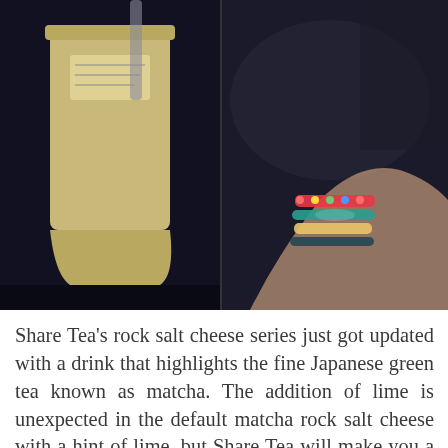[Figure (photo): Two-panel photo: left panel shows a cup of matcha drink with a label, right panel shows a hand wearing colorful bracelets holding something, both on a dark background.]
Share Tea's rock salt cheese series just got updated with a drink that highlights the fine Japanese green tea known as matcha. The addition of lime is unexpected in the default matcha rock salt cheese with a hint of lime, but Share Tea will make you a less complicated matcha rock salt cheese if you find the lime element rather funky.